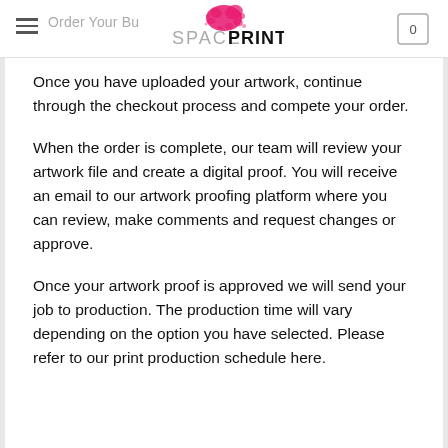Order Your Bu — SPACEPRINT
Once you have uploaded your artwork, continue through the checkout process and compete your order.
When the order is complete, our team will review your artwork file and create a digital proof. You will receive an email to our artwork proofing platform where you can review, make comments and request changes or approve.
Once your artwork proof is approved we will send your job to production. The production time will vary depending on the option you have selected. Please refer to our print production schedule here.